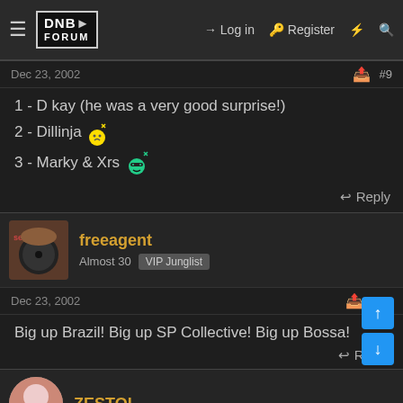DNB Forum — Log in | Register
Dec 23, 2002   #9
1 - D kay (he was a very good surprise!)
2 - Dillinja 😉
3 - Marky & Xrs 😎
↩ Reply
freeagent — Almost 30 — VIP Junglist
Dec 23, 2002   #10
Big up Brazil! Big up SP Collective! Big up Bossa!
↩ Reply
ZESTOI